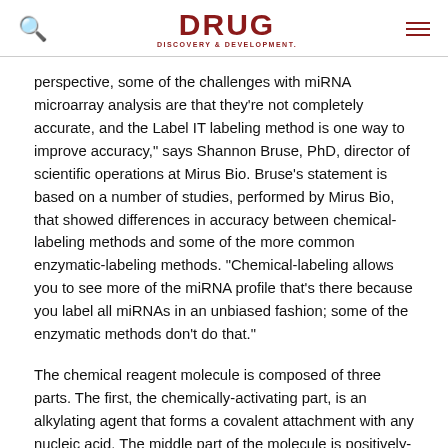DRUG DISCOVERY & DEVELOPMENT
perspective, some of the challenges with miRNA microarray analysis are that they’re not completely accurate, and the Label IT labeling method is one way to improve accuracy,” says Shannon Bruse, PhD, director of scientific operations at Mirus Bio. Bruse’s statement is based on a number of studies, performed by Mirus Bio, that showed differences in accuracy between chemical-labeling methods and some of the more common enzymatic-labeling methods. “Chemical-labeling allows you to see more of the miRNA profile that's there because you label all miRNAs in an unbiased fashion; some of the enzymatic methods don’t do that.”
The chemical reagent molecule is composed of three parts. The first, the chemically-activating part, is an alkylating agent that forms a covalent attachment with any nucleic acid. The middle part of the molecule is positively-charged and helps facilitate electrostatic interaction between the labeling reagent and the negatively-charged nucleic acid. Finally, a fluor—typically Cy3, Cy5 or biotin—